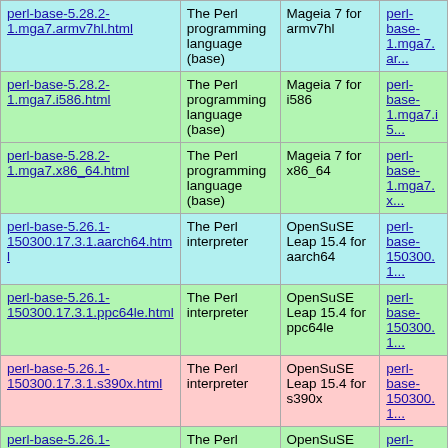| Package | Description | Distribution | Link |
| --- | --- | --- | --- |
| perl-base-5.28.2-1.mga7.armv7hl.html | The Perl programming language (base) | Mageia 7 for armv7hl | perl-base-1.mga7.ar... |
| perl-base-5.28.2-1.mga7.i586.html | The Perl programming language (base) | Mageia 7 for i586 | perl-base-1.mga7.i5... |
| perl-base-5.28.2-1.mga7.x86_64.html | The Perl programming language (base) | Mageia 7 for x86_64 | perl-base-1.mga7.x... |
| perl-base-5.26.1-150300.17.3.1.aarch64.html | The Perl interpreter | OpenSuSE Leap 15.4 for aarch64 | perl-base-150300.1... |
| perl-base-5.26.1-150300.17.3.1.ppc64le.html | The Perl interpreter | OpenSuSE Leap 15.4 for ppc64le | perl-base-150300.1... |
| perl-base-5.26.1-150300.17.3.1.s390x.html | The Perl interpreter | OpenSuSE Leap 15.4 for s390x | perl-base-150300.1... |
| perl-base-5.26.1-150300.17.3.1.x86_64.html | The Perl interpreter | OpenSuSE Leap 15.4 for x86_64 | perl-base-150300.1... |